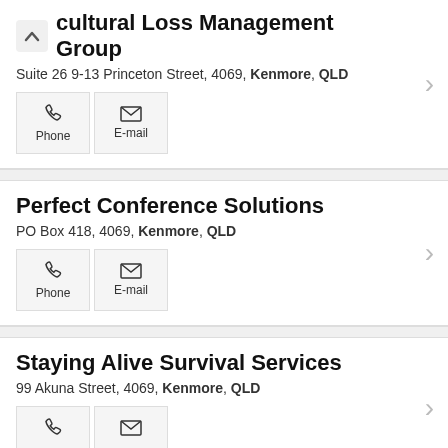cultural Loss Management Group
Suite 26 9-13 Princeton Street, 4069, Kenmore, QLD
Phone  E-mail
Perfect Conference Solutions
PO Box 418, 4069, Kenmore, QLD
Phone  E-mail
Staying Alive Survival Services
99 Akuna Street, 4069, Kenmore, QLD
Phone  E-mail